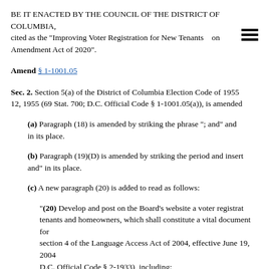BE IT ENACTED BY THE COUNCIL OF THE DISTRICT OF COLUMBIA, cited as the "Improving Voter Registration for New Tenants on Amendment Act of 2020".
Amend § 1-1001.05
Sec. 2. Section 5(a) of the District of Columbia Election Code of 1955, 12, 1955 (69 Stat. 700; D.C. Official Code § 1-1001.05(a)), is amended
(a) Paragraph (18) is amended by striking the phrase "; and" and in its place.
(b) Paragraph (19)(D) is amended by striking the period and inser and" in its place.
(c) A new paragraph (20) is added to read as follows:
"(20) Develop and post on the Board's website a voter registra tenants and homeowners, which shall constitute a vital document fo section 4 of the Language Access Act of 2004, effective June 19, 200 D.C. Official Code § 2-1933), including: